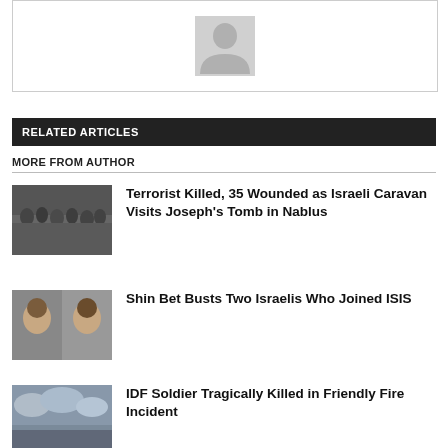[Figure (illustration): Profile placeholder box with generic person silhouette icon in gray]
RELATED ARTICLES
MORE FROM AUTHOR
[Figure (photo): Crowd of people viewed from behind, appearing to be at a gathering or event]
Terrorist Killed, 35 Wounded as Israeli Caravan Visits Joseph's Tomb in Nablus
[Figure (photo): Two men's faces side by side in a mugshot-style photo]
Shin Bet Busts Two Israelis Who Joined ISIS
[Figure (photo): Cloudy sky with military or outdoor scene]
IDF Soldier Tragically Killed in Friendly Fire Incident